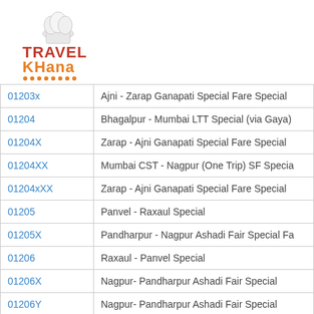[Figure (logo): Travel Khana logo with chef hat icon, 'TRAVEL' in red bold, 'KHana' in orange bold, orange dots underline]
| Code | Train Name |
| --- | --- |
| 01203x | Ajni - Zarap Ganapati Special Fare Special |
| 01204 | Bhagalpur - Mumbai LTT Special (via Gaya) |
| 01204X | Zarap - Ajni Ganapati Special Fare Special |
| 01204XX | Mumbai CST - Nagpur (One Trip) SF Specia |
| 01204xXX | Zarap - Ajni Ganapati Special Fare Special |
| 01205 | Panvel - Raxaul Special |
| 01205X | Pandharpur - Nagpur Ashadi Fair Special Fa |
| 01206 | Raxaul - Panvel Special |
| 01206X | Nagpur- Pandharpur Ashadi Fair Special |
| 01206Y | Nagpur- Pandharpur Ashadi Fair Special |